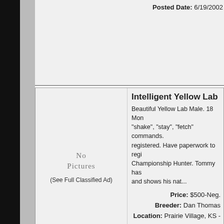Posted Date: 6/19/2002
Intelligent Yellow Lab
[Figure (other): No Pictures placeholder for Intelligent Yellow Lab listing]
(See Full Classified Ad)
Beautiful Yellow Lab Male. 18 Mon... "shake", "stay", "fetch" commands. registered. Have paperwork to regi... Championship Hunter. Tommy has... and shows his nat...
Price: $500-Neg.
Breeder: Dan Thomas
Location: Prairie Village, KS -
Breed: None
Posted Date: 6/19/2002
Golden Retriever female
[Figure (other): No Pictures placeholder for Golden Retriever female listing]
(See Full Classified Ad)
AKC registered Golden Retriever f... GR-73481F24F, heart clearance, &... professional training, still could use... Rip Roarin Sooner CD JH Dam--To...
Price: $2000
Breeder: Cherie Mobley